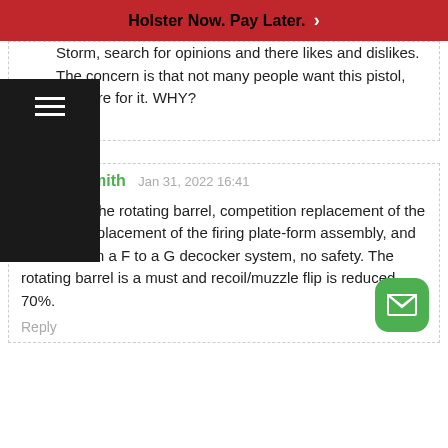Holster Now. Pay Later. >
Storm, search for opinions and there likes and dislikes. The concern is that not many people want this pistol, nor care for it. WHY?
Reply
William Smith   Jan 31, 2022 16:41
The Best! The rotating barrel, competition replacement of the hammer, replacement of the firing plate-form assembly, and convert from a F to a G decocker system, no safety. The rotating barrel is a must and recoil/muzzle flip is reduced
70%.
Reply